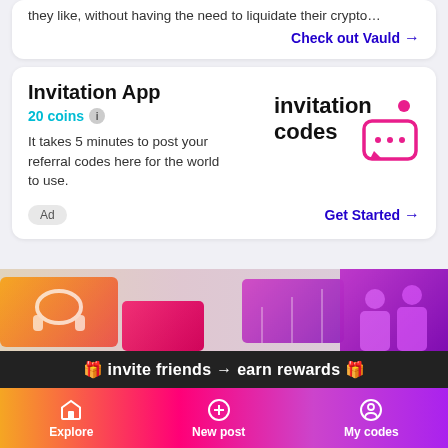they like, without having the need to liquidate their crypto…
Check out Vauld →
Invitation App
20 coins
It takes 5 minutes to post your referral codes here for the world to use.
Ad
Get Started →
[Figure (logo): invitation.codes logo with speech bubble icon]
[Figure (photo): Colorful image strip with headphones, pink blocks, and purple silhouettes]
🎁 invite friends → earn rewards 🎁
Explore   New post   My codes